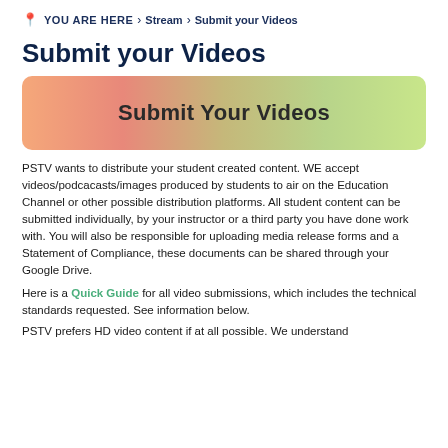YOU ARE HERE > Stream > Submit your Videos
Submit your Videos
[Figure (illustration): Banner with gradient background (salmon-to-green) displaying the text 'Submit Your Videos' in bold dark lettering]
PSTV wants to distribute your student created content. WE accept videos/podcacasts/images produced by students to air on the Education Channel or other possible distribution platforms. All student content can be submitted individually, by your instructor or a third party you have done work with. You will also be responsible for uploading media release forms and a Statement of Compliance, these documents can be shared through your Google Drive.
Here is a Quick Guide for all video submissions, which includes the technical standards requested. See information below.
PSTV prefers HD video content if at all possible. We understand